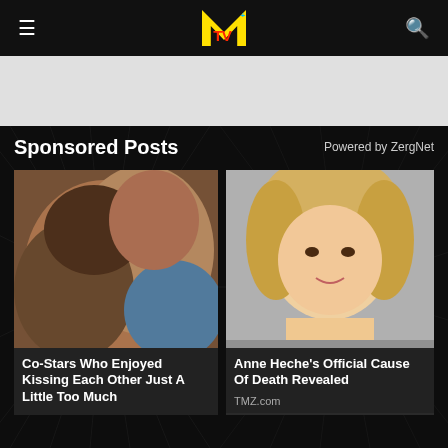MTV
[Figure (photo): MTV website header with hamburger menu, MTV logo, and search icon on black background]
[Figure (photo): Gray advertisement banner area]
Sponsored Posts
Powered by ZergNet
[Figure (photo): Two people kissing closeup photo]
Co-Stars Who Enjoyed Kissing Each Other Just A Little Too Much
[Figure (photo): Anne Heche smiling portrait photo]
Anne Heche's Official Cause Of Death Revealed
TMZ.com